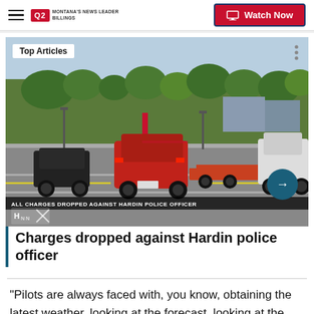Q2 MONTANA'S NEWS LEADER BILLINGS | Watch Now
[Figure (screenshot): Road scene with cars and trucks on a multi-lane road with trees in the background. Overlay text: 'Top Articles', news ticker 'ALL CHARGES DROPPED AGAINST HARDIN POLICE OFFICER', arrow button, and news logo overlay.]
Charges dropped against Hardin police officer
"Pilots are always faced with, you know, obtaining the latest weather, looking at the forecast, looking at the weather along different stations and the weather from